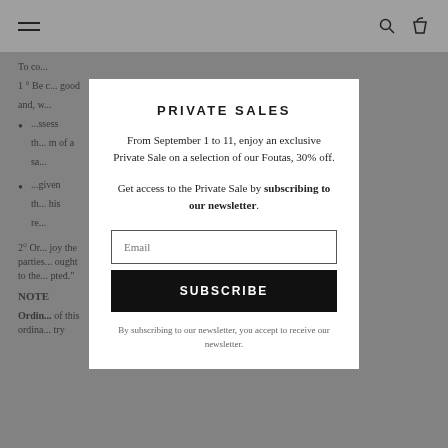Navigation bar with hamburger menu, search and cart icons
To co...
...ssess th... m of a sa...
...given th... his re...
2° Or... joy the parties... ought to the... pted."
NOTE
Ordin... of this ordina... try
PRIVATE SALES
From September 1 to 11, enjoy an exclusive Private Sale on a selection of our Foutas, 30% off.
Get access to the Private Sale by subscribing to our newsletter.
Email
SUBSCRIBE
By subscribing to our newsletter, you accept to receive our newsletter.